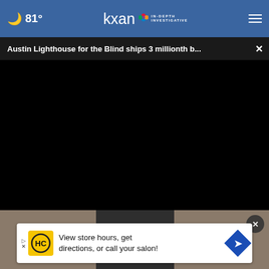81° kxan IN-DEPTH INVESTIGATIVE
Austin Lighthouse for the Blind ships 3 millionth b...
[Figure (screenshot): Black video player area embedded in news website]
[Figure (photo): Stone wall with chain/padlock visible at bottom of page]
View store hours, get directions, or call your salon!